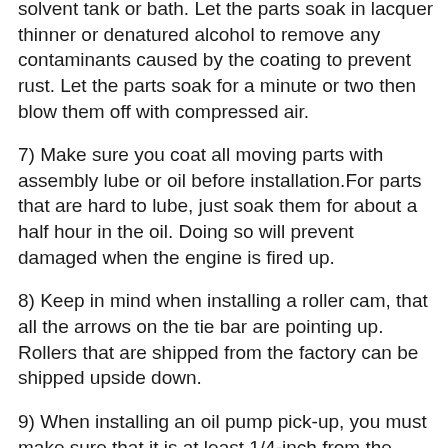solvent tank or bath. Let the parts soak in lacquer thinner or denatured alcohol to remove any contaminants caused by the coating to prevent rust. Let the parts soak for a minute or two then blow them off with compressed air.
7) Make sure you coat all moving parts with assembly lube or oil before installation.For parts that are hard to lube, just soak them for about a half hour in the oil. Doing so will prevent damaged when the engine is fired up.
8) Keep in mind when installing a roller cam, that all the arrows on the tie bar are pointing up. Rollers that are shipped from the factory can be shipped upside down.
9) When installing an oil pump pick-up, you must make sure that it is at least 1/4-inch from the floor of the oil